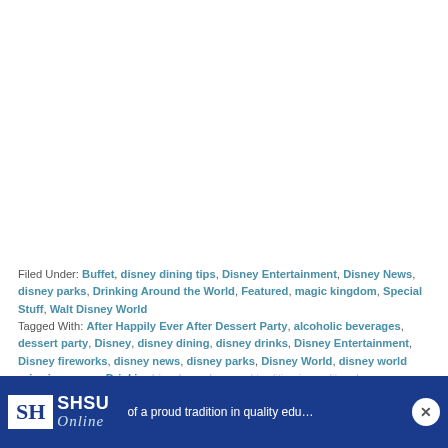Filed Under: Buffet, disney dining tips, Disney Entertainment, Disney News, disney parks, Drinking Around the World, Featured, magic kingdom, Special Stuff, Walt Disney World Tagged With: After Happily Ever After Dessert Party, alcoholic beverages, dessert party, Disney, disney dining, disney drinks, Disney Entertainment, Disney fireworks, disney news, disney parks, Disney World, disney world price increases, Drinking Around the World, magic kingdom, plaza…
[Figure (logo): SHSU Online advertisement banner with logo and slogan 'of a proud tradition in quality edu…']